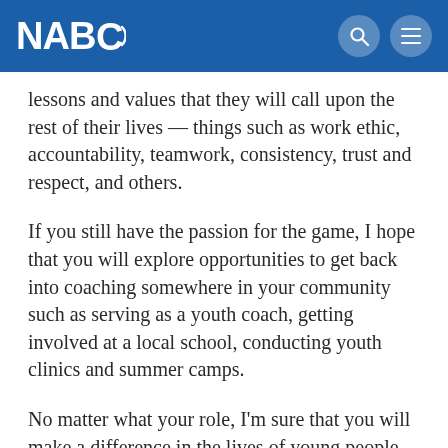NABC
lessons and values that they will call upon the rest of their lives — things such as work ethic, accountability, teamwork, consistency, trust and respect, and others.
If you still have the passion for the game, I hope that you will explore opportunities to get back into coaching somewhere in your community such as serving as a youth coach, getting involved at a local school, conducting youth clinics and summer camps.
No matter what your role, I'm sure that you will make a difference in the lives of young people while giving greater body for your satisfaction